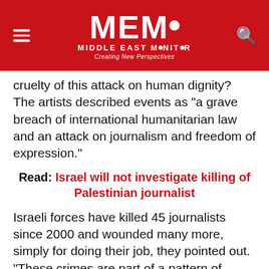MEMO MIDDLE EAST MONITOR - Creating New Perspectives
cruelty of this attack on human dignity? The artists described events as "a grave breach of international humanitarian law and an attack on journalism and freedom of expression."
Read: Israel will not investigate killing of Palestinian journalist
Israeli forces have killed 45 journalists since 2000 and wounded many more, simply for doing their job, they pointed out. "These crimes are part of a pattern of violence, harassment and intimidation against Palestinian journalists who are shining a light on what Amnesty International, Human Rights